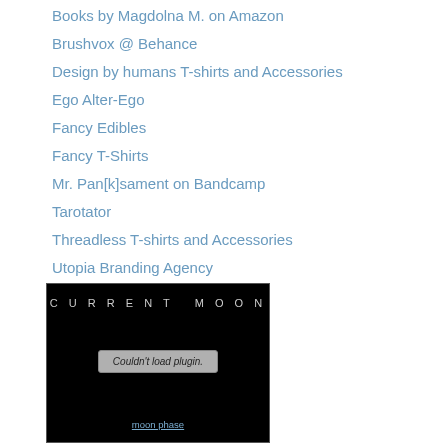Books by Magdolna M. on Amazon
Brushvox @ Behance
Design by humans T-shirts and Accessories
Ego Alter-Ego
Fancy Edibles
Fancy T-Shirts
Mr. Pan[k]sament on Bandcamp
Tarotator
Threadless T-shirts and Accessories
Utopia Branding Agency
[Figure (screenshot): A widget with black background showing 'CURRENT MOON' title in spaced letters, a plugin error message 'Couldn't load plugin.' in a grey box, and a 'moon phase' link at the bottom.]